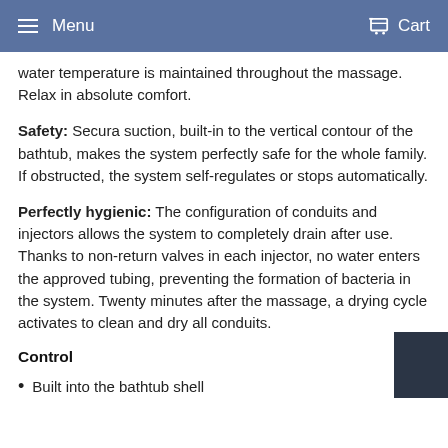Menu  Cart
water temperature is maintained throughout the massage. Relax in absolute comfort.
Safety: Secura suction, built-in to the vertical contour of the bathtub, makes the system perfectly safe for the whole family. If obstructed, the system self-regulates or stops automatically.
Perfectly hygienic: The configuration of conduits and injectors allows the system to completely drain after use. Thanks to non-return valves in each injector, no water enters the approved tubing, preventing the formation of bacteria in the system. Twenty minutes after the massage, a drying cycle activates to clean and dry all conduits.
Control
Built into the bathtub shell